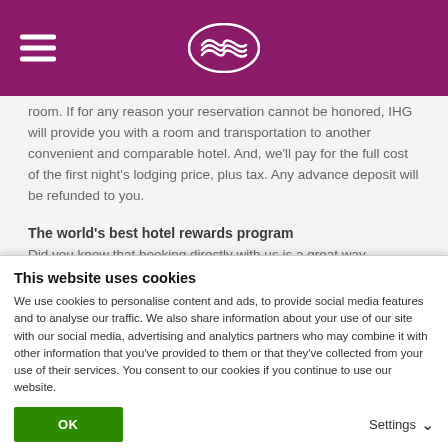IHG hotel website header with hamburger menu and logo
room. If for any reason your reservation cannot be honored, IHG will provide you with a room and transportation to another convenient and comparable hotel. And, we'll pay for the full cost of the first night's lodging price, plus tax. Any advance deposit will be refunded to you.
The world's best hotel rewards program
Did you know that booking directly with us is a great way
This website uses cookies
We use cookies to personalise content and ads, to provide social media features and to analyse our traffic. We also share information about your use of our site with our social media, advertising and analytics partners who may combine it with other information that you've provided to them or that they've collected from your use of their services. You consent to our cookies if you continue to use our website.
OK
Settings